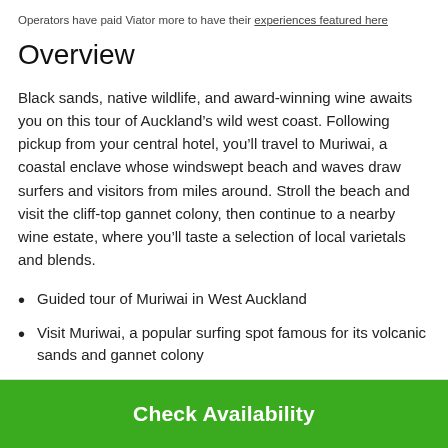Operators have paid Viator more to have their experiences featured here
Overview
Black sands, native wildlife, and award-winning wine awaits you on this tour of Auckland’s wild west coast. Following pickup from your central hotel, you’ll travel to Muriwai, a coastal enclave whose windswept beach and waves draw surfers and visitors from miles around. Stroll the beach and visit the cliff-top gannet colony, then continue to a nearby wine estate, where you’ll taste a selection of local varietals and blends.
Guided tour of Muriwai in West Auckland
Visit Muriwai, a popular surfing spot famous for its volcanic sands and gannet colony
Check Availability